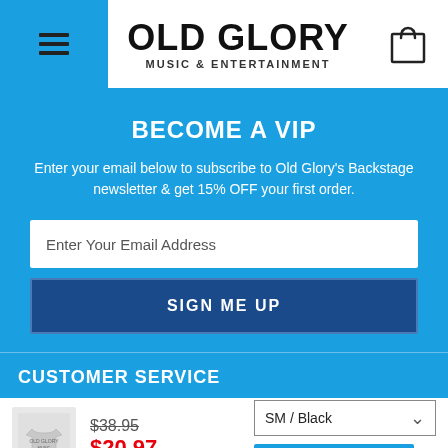OLD GLORY MUSIC & ENTERTAINMENT
BECOME A VIP
Enter your email below to subscribe to Old Glory's Backstage newsletter & get 15% OFF your first order.
Enter Your Email Address
SIGN ME UP
CUSTOMER SERVICE
$38.95 $20.97 SM / Black ADD TO CART